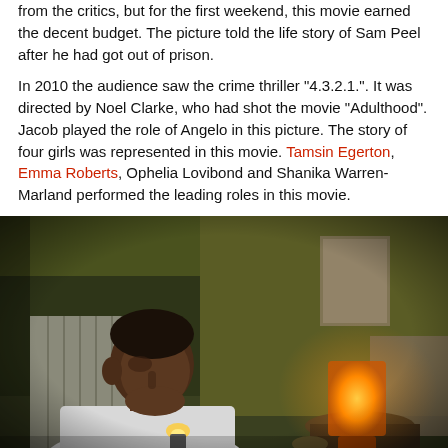from the critics, but for the first weekend, this movie earned the decent budget. The picture told the life story of Sam Peel after he had got out of prison.

In 2010 the audience saw the crime thriller "4.3.2.1.". It was directed by Noel Clarke, who had shot the movie "Adulthood". Jacob played the role of Angelo in this picture. The story of four girls was represented in this movie. Tamsin Egerton, Emma Roberts, Ophelia Lovibond and Shanika Warren-Marland performed the leading roles in this movie.
[Figure (photo): A young Black man sitting in a dimly lit room, holding a lighter. Behind him is a radiator and a poster on the wall. On a side table to the right is a glowing orange lamp.]